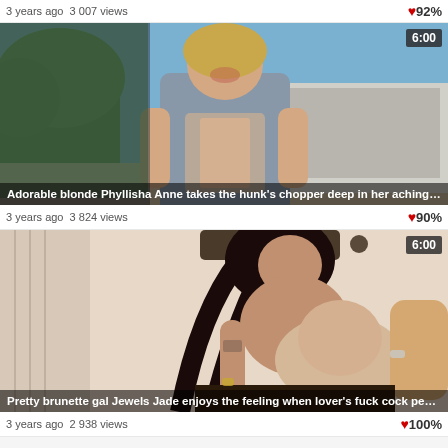3 years ago  3 007 views    ♥92%
[Figure (screenshot): Video thumbnail of blonde woman outdoors with title overlay: Adorable blonde Phyllisha Anne takes the hunk's chopper deep in her aching butt. Duration badge: 6:00]
3 years ago  3 824 views    ♥90%
[Figure (screenshot): Video thumbnail of brunette woman with title overlay: Pretty brunette gal Jewels Jade enjoys the feeling when lover's fuck cock penetrates he... Duration badge: 6:00]
3 years ago  2 938 views    ♥100%